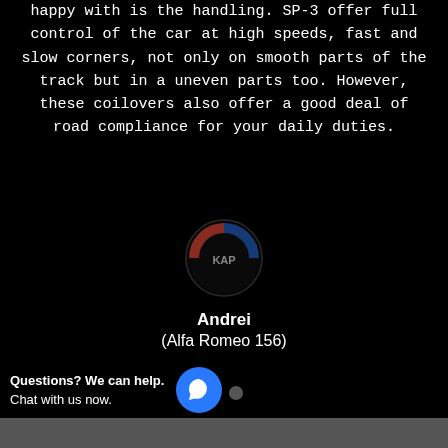happy with is the handling. SP-3 offer full control of the car at high speeds, fast and slow corners, not only on smooth parts of the track but in a uneven parts too. However, these coilovers also offer a good deal of road compliance for your daily duties.
[Figure (logo): A circular logo with red and blue design elements on a dark background, partially faded/transparent]
Andrei
(Alfa Romeo 156)
[Figure (other): Carousel navigation dots: one white filled dot and one gray dot]
Questions? We can help. Chat with us now.